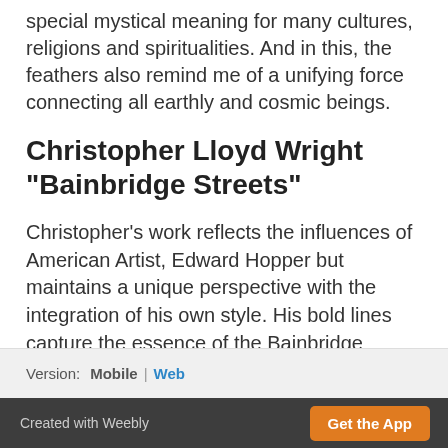special mystical meaning for many cultures, religions and spiritualities. And in this, the feathers also remind me of a unifying force connecting all earthly and cosmic beings.
Christopher Lloyd Wright "Bainbridge Streets"
Christopher's work reflects the influences of American Artist, Edward Hopper but maintains a unique perspective with the integration of his own style. His bold lines capture the essence of the Bainbridge Streets.
Version: Mobile | Web
Created with Weebly   Get the App